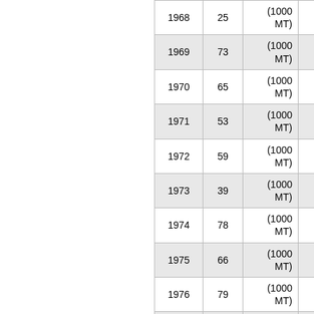| Year | Value | Unit | Change% |
| --- | --- | --- | --- |
| 1968 | 25 | (1000 MT) | -50.98% |
| 1969 | 73 | (1000 MT) | 192.00% |
| 1970 | 65 | (1000 MT) | -10.96% |
| 1971 | 53 | (1000 MT) | -18.46% |
| 1972 | 59 | (1000 MT) | 11.32% |
| 1973 | 39 | (1000 MT) | -33.90% |
| 1974 | 78 | (1000 MT) | 100.00% |
| 1975 | 66 | (1000 MT) | -15.38% |
| 1976 | 79 | (1000 MT) | 19.70% |
| 1977 | 96 | (1000 MT) | 21.52% |
| 1978 | 57 | (1000 MT) | -40.63% |
| ... | ... | (1000 | ... |